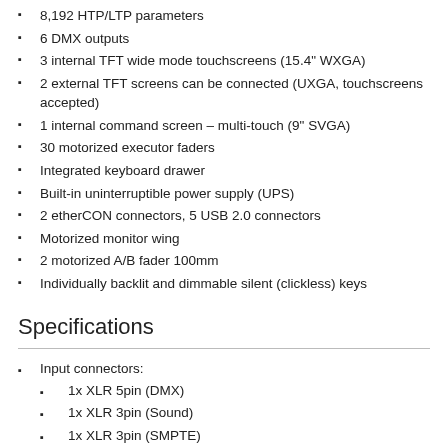8,192 HTP/LTP parameters
6 DMX outputs
3 internal TFT wide mode touchscreens (15.4" WXGA)
2 external TFT screens can be connected (UXGA, touchscreens accepted)
1 internal command screen – multi-touch (9" SVGA)
30 motorized executor faders
Integrated keyboard drawer
Built-in uninterruptible power supply (UPS)
2 etherCON connectors, 5 USB 2.0 connectors
Motorized monitor wing
2 motorized A/B fader 100mm
Individually backlit and dimmable silent (clickless) keys
Specifications
Input connectors:
1x XLR 5pin (DMX)
1x XLR 3pin (Sound)
1x XLR 3pin (SMPTE)
1x DIN (MIDI)
1x Sub-D 25pol (Analogue Remote)